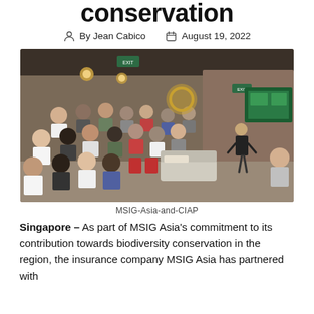conservation
By Jean Cabico   August 19, 2022
[Figure (photo): A group of people wearing face masks seated and watching a presenter standing near a large screen displaying content, in a modern office lounge setting.]
MSIG-Asia-and-CIAP
Singapore – As part of MSIG Asia's commitment to its contribution towards biodiversity conservation in the region, the insurance company MSIG Asia has partnered with